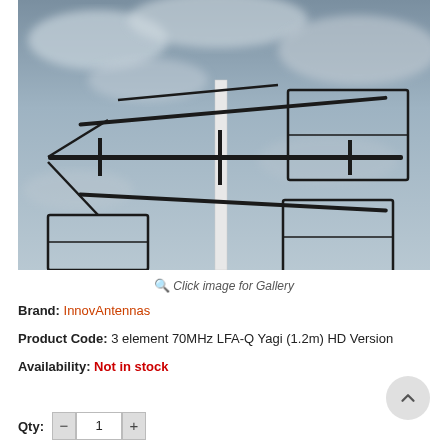[Figure (photo): Photograph of a 3 element 70MHz LFA-Q Yagi antenna (1.2m HD Version) mounted on a pole, photographed against a cloudy grey sky. The antenna has multiple horizontal boom elements and rectangular loop elements.]
Click image for Gallery
Brand: InnovAntennas
Product Code: 3 element 70MHz LFA-Q Yagi (1.2m) HD Version
Availability: Not in stock
Qty: 1